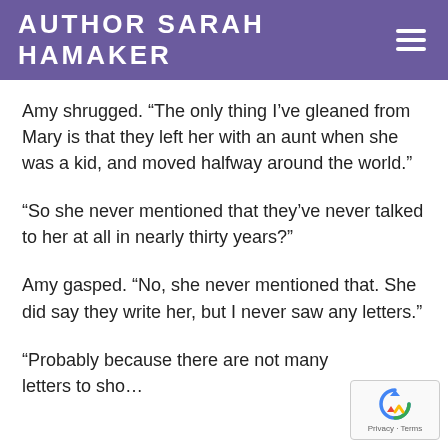AUTHOR SARAH HAMAKER
Amy shrugged. “The only thing I’ve gleaned from Mary is that they left her with an aunt when she was a kid, and moved halfway around the world.”
“So she never mentioned that they’ve never talked to her at all in nearly thirty years?”
Amy gasped. “No, she never mentioned that. She did say they write her, but I never saw any letters.”
“Probably because there are not many letters to sho…